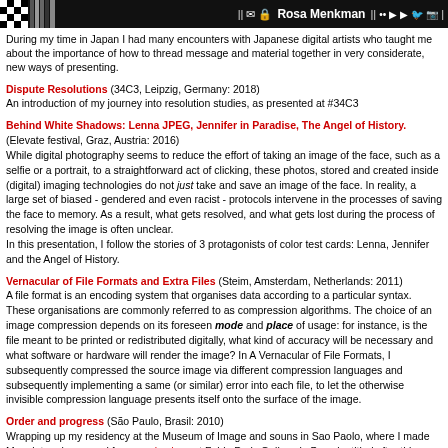Rosa Menkman
During my time in Japan I had many encounters with Japanese digital artists who taught me about the importance of how to thread message and material together in very considerate, new ways of presenting.
Dispute Resolutions (34C3, Leipzig, Germany: 2018) An introduction of my journey into resolution studies, as presented at #34C3
Behind White Shadows: Lenna JPEG, Jennifer in Paradise, The Angel of History. (Elevate festival, Graz, Austria: 2016) While digital photography seems to reduce the effort of taking an image of the face, such as a selfie or a portrait, to a straightforward act of clicking, these photos, stored and created inside (digital) imaging technologies do not just take and save an image of the face. In reality, a large set of biased - gendered and even racist - protocols intervene in the processes of saving the face to memory. As a result, what gets resolved, and what gets lost during the process of resolving the image is often unclear. In this presentation, I follow the stories of 3 protagonists of color test cards: Lenna, Jennifer and the Angel of History.
Vernacular of File Formats and Extra Files (Steim, Amsterdam, Netherlands: 2011) A file format is an encoding system that organises data according to a particular syntax. These organisations are commonly referred to as compression algorithms. The choice of an image compression depends on its foreseen mode and place of usage: for instance, is the file meant to be printed or redistributed digitally, what kind of accuracy will be necessary and what software or hardware will render the image? In A Vernacular of File Formats, I subsequently compressed the source image via different compression languages and subsequently implementing a same (or similar) error into each file, to let the otherwise invisible compression language presents itself onto the surface of the image.
Order and progress (São Paulo, Brasil: 2010) Wrapping up my residency at the Museum of Image and souns in Sao Paolo, where I made Monglot and prepared for my solo show at Fabio Paris Gallery, in Brescia, titled after this presentation.
Rosa Menkman at Gene Siskel (Chicago, USA: 2010)
Alternatief gebruik van digitale idiomen (Amsterdam, Netherlands: 2010)
Glitch Studies Manifesto (Video Vortex, Brussels, Belgium: 2009)
The exploitation of noise artifacts to create critical media aesthetics (ISEA, Belfast, Ireland: 2009)
Every tool is a weapon if you hold it right (HAIP festival, Ljubljana Slovenia: 2008)